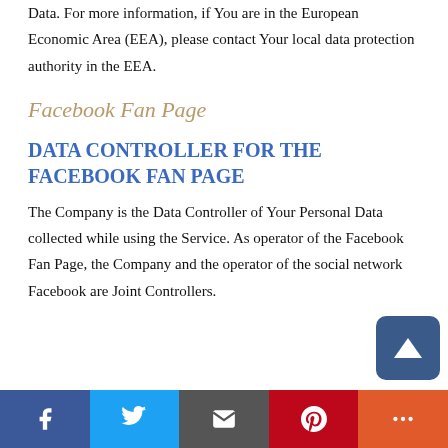Data. For more information, if You are in the European Economic Area (EEA), please contact Your local data protection authority in the EEA.
Facebook Fan Page
DATA CONTROLLER FOR THE FACEBOOK FAN PAGE
The Company is the Data Controller of Your Personal Data collected while using the Service. As operator of the Facebook Fan Page, the Company and the operator of the social network Facebook are Joint Controllers.
Social share bar: Facebook, Twitter, Email, Pinterest, More